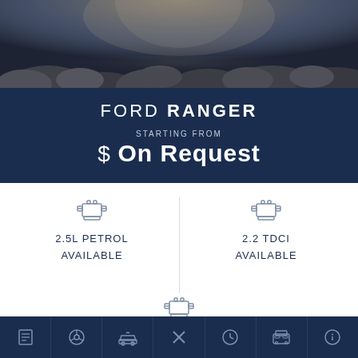[Figure (photo): Ford Ranger hero image showing a truck on rocky terrain with dramatic lighting]
FORD RANGER
STARTING FROM
$ On Request
2.5L PETROL
AVAILABLE
2.2 TDCi
AVAILABLE
3.2 TDCi
[Figure (infographic): Footer navigation bar with 7 icons: document/catalog, steering wheel, car, tools/wrench, clock, vehicle front, info circle]